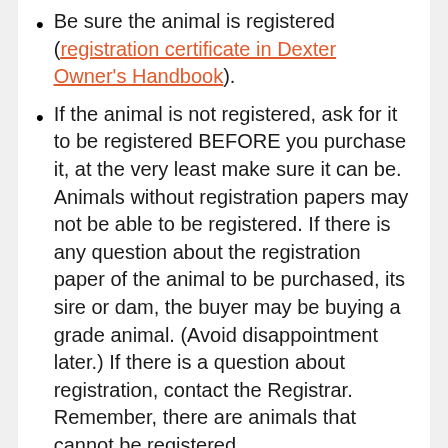Be sure the animal is registered (registration certificate in Dexter Owner's Handbook).
If the animal is not registered, ask for it to be registered BEFORE you purchase it, at the very least make sure it can be. Animals without registration papers may not be able to be registered. If there is any question about the registration paper of the animal to be purchased, its sire or dam, the buyer may be buying a grade animal. (Avoid disappointment later.) If there is a question about registration, contact the Registrar. Remember, there are animals that cannot be registered.
Heifers and cows over one year and bulls over two years, may require